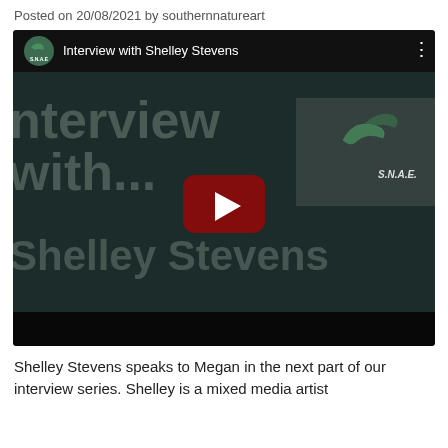Posted on 20/08/2021 by southernnatureart
[Figure (screenshot): YouTube video embed showing 'Interview with Shelley Stevens' from the southernnatureart (S.N.A.E.) channel, with a dark thumbnail featuring watermark text 'Interview with...' and 'Shelley Stevens', a YouTube play button, and the S.N.A.E. logo.]
Shelley Stevens speaks to Megan in the next part of our interview series. Shelley is a mixed media artist